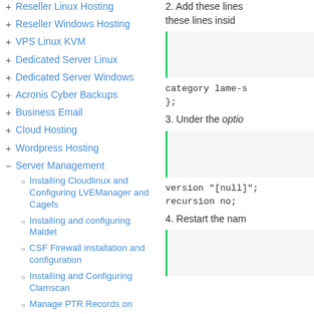+ Reseller Linux Hosting
+ Reseller Windows Hosting
+ VPS Linux KVM
+ Dedicated Server Linux
+ Dedicated Server Windows
+ Acronis Cyber Backups
+ Business Email
+ Cloud Hosting
+ Wordpress Hosting
- Server Management
o Installing Cloudlinux and Configuring LVEManager and Cagefs
o Installing and configuring Maldet
o CSF Firewall installation and configuration
o Installing and Configuring Clamscan
o Manage PTR Records on
2. Add these lines inside these lines inside
category lame-s
};
3. Under the optio
version "[null]";
recursion no;
4. Restart the nam